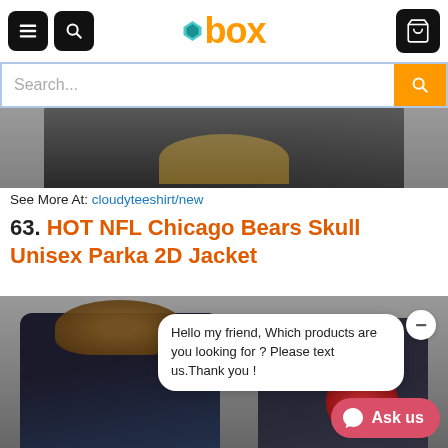box (logo) — navigation header with menu, search, and cart icons
Search...
[Figure (photo): Partial view of a dark winter jacket with fur-lined hood, displayed on a gray background]
See More At: cloudyteeshirt/new
63. HOT NFL Chicago Bears Skull Unisex Parka 2D Jacket
[Figure (photo): Dark navy parka jacket with fur-lined hood showing Chicago Bears skull graphic patch, with chat overlay and Ask us button]
Hello my friend, Which products are you looking for ? Please text us.Thank you !